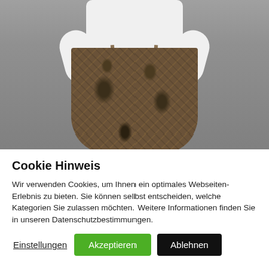[Figure (photo): Photo of a person wearing a white dress shirt and patterned paisley trousers with suspenders, shown from the torso down, against a gray background.]
Cookie Hinweis
Wir verwenden Cookies, um Ihnen ein optimales Webseiten-Erlebnis zu bieten. Sie können selbst entscheiden, welche Kategorien Sie zulassen möchten. Weitere Informationen finden Sie in unseren Datenschutzbestimmungen.
Einstellungen   Akzeptieren   Ablehnen